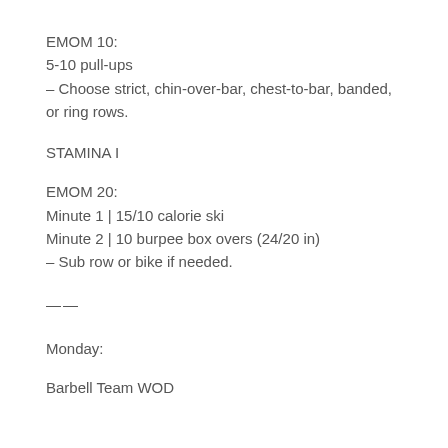EMOM 10:
5-10 pull-ups
– Choose strict, chin-over-bar, chest-to-bar, banded, or ring rows.
STAMINA I
EMOM 20:
Minute 1 | 15/10 calorie ski
Minute 2 | 10 burpee box overs (24/20 in)
– Sub row or bike if needed.
——
Monday:
Barbell Team WOD